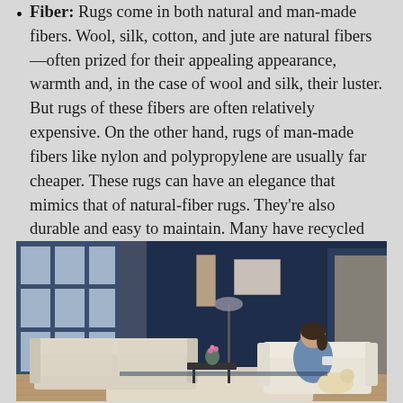Fiber: Rugs come in both natural and man-made fibers. Wool, silk, cotton, and jute are natural fibers—often prized for their appealing appearance, warmth and, in the case of wool and silk, their luster. But rugs of these fibers are often relatively expensive. On the other hand, rugs of man-made fibers like nylon and polypropylene are usually far cheaper. These rugs can have an elegance that mimics that of natural-fiber rugs. They're also durable and easy to maintain. Many have recycled content and are even fully recyclable.
[Figure (photo): A living room with dark navy blue walls, large windows with white frames, a light beige sofa on the left, a woman sitting in a cream armchair on the right holding a mug, a small coffee table in the center, a floor lamp, and a light-colored rug on hardwood floors. Artwork hangs on the walls.]